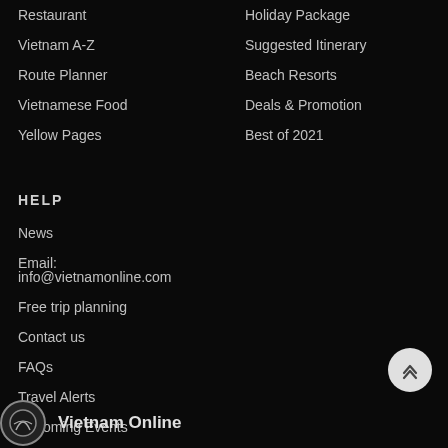Restaurant
Vietnam A-Z
Route Planner
Vietnamese Food
Yellow Pages
Holiday Package
Suggested Itinerary
Beach Resorts
Deals & Promotion
Best of 2021
HELP
News
Email: info@vietnamonline.com
Free trip planning
Contact us
FAQs
Travel Alerts
Upcoming Events
Vietnam Online